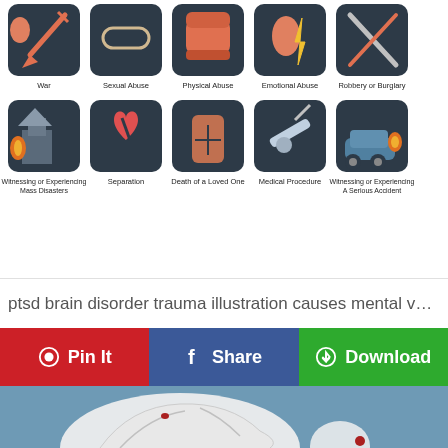[Figure (infographic): PTSD trauma causes infographic showing 10 icons in a 5x2 grid on dark background tiles: War, Sexual Abuse, Physical Abuse, Emotional Abuse, Robbery or Burglary, Witnessing or Experiencing Mass Disasters, Separation, Death of a Loved One, Medical Procedure, Witnessing or Experiencing A Serious Accident]
ptsd brain disorder trauma illustration causes mental v…
Pin It
Share
Download
[Figure (illustration): Illustration of a person curled up / hunched over in white cloth/fabric on a blue background, suggesting distress or trauma, with a small red element visible]